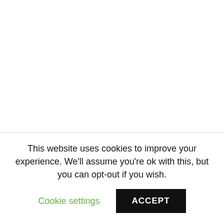Topic is Reptilians, Mk Ultra, SRA, black magic and more. James Bartley and I discuss how the Reptilian
This website uses cookies to improve your experience. We'll assume you're ok with this, but you can opt-out if you wish.
Cookie settings
ACCEPT